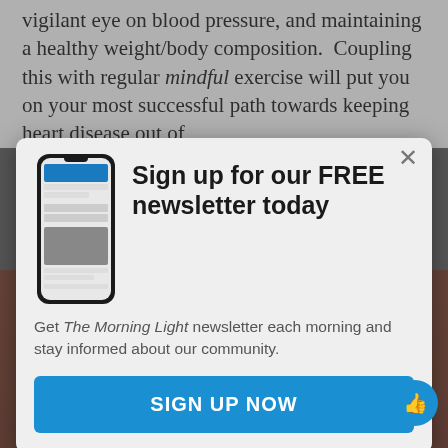vigilant eye on blood pressure, and maintaining a healthy weight/body composition. Coupling this with regular mindful exercise will put you on your most successful path towards keeping heart disease out of
[Figure (screenshot): Newsletter signup modal dialog with phone mockup image, headline 'Sign up for our FREE newsletter today', body text about The Morning Light newsletter, and a blue SIGN UP NOW button]
[Figure (photo): Promotional poster for 'The U.S. and the Holocaust' documentary, directed by Ken Burns, Lynn Novick & Sarah Botstein. Premieres Sun Sept 18 7PM on Nine PBS]